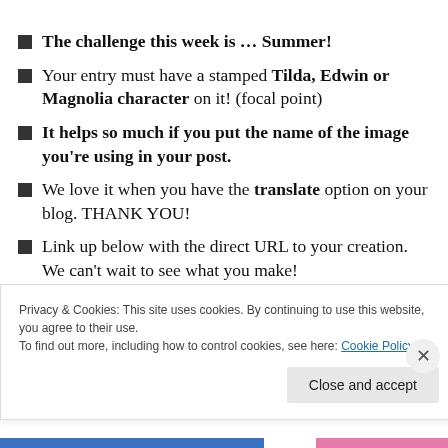The challenge this week is … Summer!
Your entry must have a stamped Tilda, Edwin or Magnolia character on it! (focal point)
It helps so much if you put the name of the image you're using in your post.
We love it when you have the translate option on your blog. THANK YOU!
Link up below with the direct URL to your creation. We can't wait to see what you make!
Privacy & Cookies: This site uses cookies. By continuing to use this website, you agree to their use.
To find out more, including how to control cookies, see here: Cookie Policy